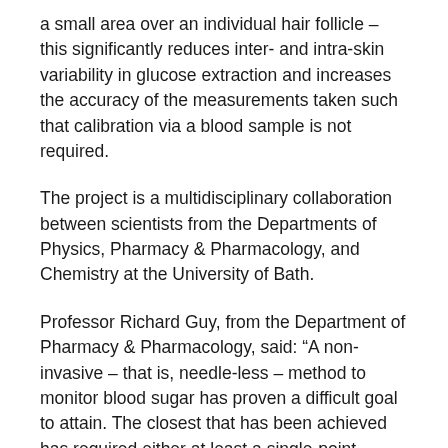a small area over an individual hair follicle – this significantly reduces inter- and intra-skin variability in glucose extraction and increases the accuracy of the measurements taken such that calibration via a blood sample is not required.
The project is a multidisciplinary collaboration between scientists from the Departments of Physics, Pharmacy & Pharmacology, and Chemistry at the University of Bath.
Professor Richard Guy, from the Department of Pharmacy & Pharmacology, said: “A non-invasive – that is, needle-less – method to monitor blood sugar has proven a difficult goal to attain. The closest that has been achieved has required either at least a single-point calibration with a classic ‘finger-stick’ or the implantation of a pre-calibrated sensor via a single needle insertion. The monitor developed at Bath promises a truly calibration-free approach, an essential